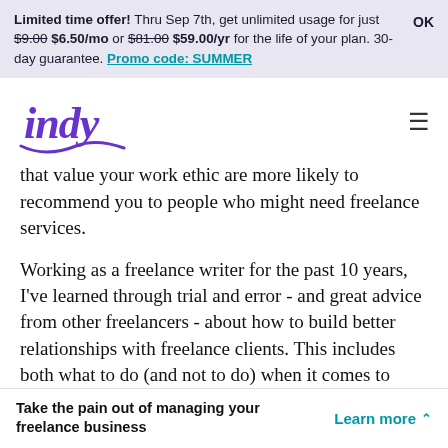Limited time offer! Thru Sep 7th, get unlimited usage for just $9.00 $6.50/mo or $81.00 $59.00/yr for the life of your plan. 30-day guarantee. Promo code: SUMMER
[Figure (logo): Indy logo — stylized purple cursive wordmark 'indy' with decorative swash]
that value your work ethic are more likely to recommend you to people who might need freelance services.
Working as a freelance writer for the past 10 years, I've learned through trial and error - and great advice from other freelancers - about how to build better relationships with freelance clients. This includes both what to do (and not to do) when it comes to
Take the pain out of managing your freelance business  Learn more ∧